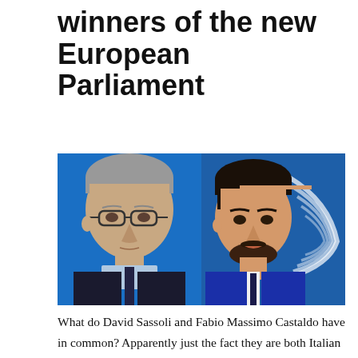winners of the new European Parliament
[Figure (photo): Two Italian politicians side by side: on the left, an older man with grey hair and glasses wearing a dark suit; on the right, a younger man with dark hair and beard in a blue suit, with the European Parliament logo visible behind him.]
What do David Sassoli and Fabio Massimo Castaldo have in common? Apparently just the fact they are both Italian politicians. But there is much more. They both made the history of Italy in the European Parliament, becoming the protagonists of the first ever committee